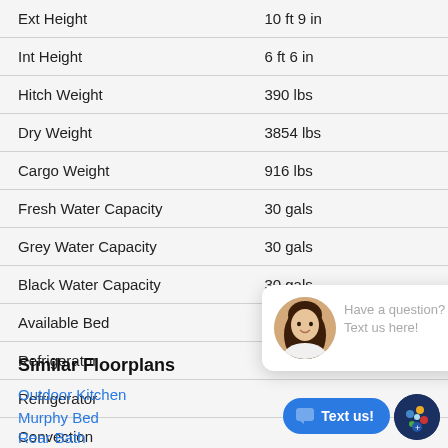| Specification | Value |
| --- | --- |
| Ext Height | 10 ft 9 in |
| Int Height | 6 ft 6 in |
| Hitch Weight | 390 lbs |
| Dry Weight | 3854 lbs |
| Cargo Weight | 916 lbs |
| Fresh Water Capacity | 30 gals |
| Grey Water Capacity | 30 gals |
| Black Water Capacity | 30 gals |
| Available Bed | … |
| Refrigerator | … |
| Refrigerator | … |
| Convection | … |
Similar Floorplans
Outdoor Kitchen
Murphy Bed
Rear Bath